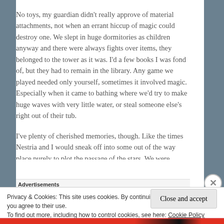No toys, my guardian didn't really approve of material attachments, not when an errant hiccup of magic could destroy one. We slept in huge dormitories as children anyway and there were always fights over items, they belonged to the tower as it was. I'd a few books I was fond of, but they had to remain in the library. Any game we played needed only yourself, sometimes it involved magic. Especially when it came to bathing where we'd try to make huge waves with very little water, or steal someone else's right out of their tub.
I've plenty of cherished memories, though. Like the times Nestria and I would sneak off into some out of the way place purely to plot the passage of the stars. We were
Advertisements
Privacy & Cookies: This site uses cookies. By continuing to use this website, you agree to their use.
To find out more, including how to control cookies, see here: Cookie Policy
Close and accept